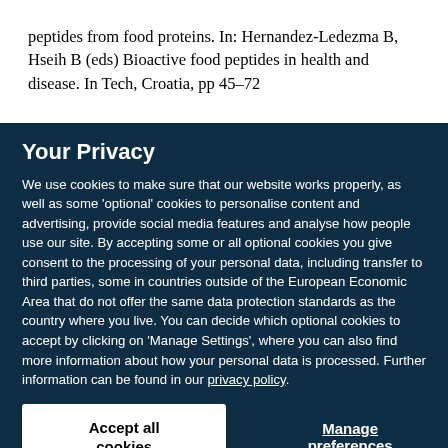peptides from food proteins. In: Hernandez-Ledezma B, Hseih B (eds) Bioactive food peptides in health and disease. In Tech, Croatia, pp 45–72
Your Privacy
We use cookies to make sure that our website works properly, as well as some 'optional' cookies to personalise content and advertising, provide social media features and analyse how people use our site. By accepting some or all optional cookies you give consent to the processing of your personal data, including transfer to third parties, some in countries outside of the European Economic Area that do not offer the same data protection standards as the country where you live. You can decide which optional cookies to accept by clicking on 'Manage Settings', where you can also find more information about how your personal data is processed. Further information can be found in our privacy policy.
Accept all cookies
Manage preferences